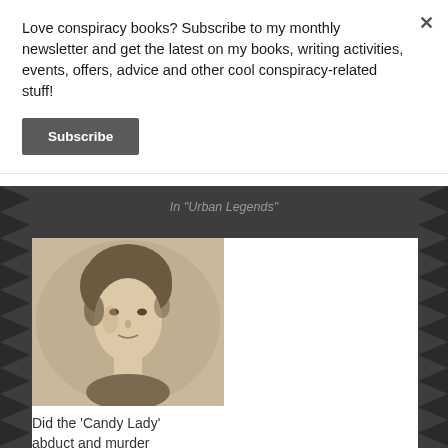Love conspiracy books? Subscribe to my monthly newsletter and get the latest on my books, writing activities, events, offers, advice and other cool conspiracy-related stuff!
[Figure (other): Subscribe button - dark grey rectangular button with white bold text 'Subscribe']
In "Urban Legends"
[Figure (photo): Sepia-toned vintage portrait photograph of a young woman with hair pulled up, looking slightly to the side with a serious expression]
Did the 'Candy Lady' abduct and murder children in Texas?
July 6, 2017
In "Mysteries"